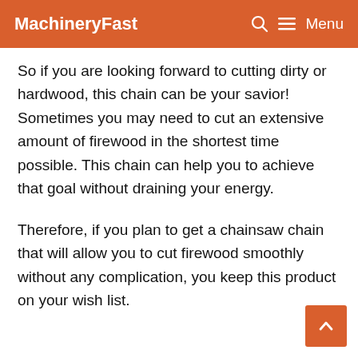MachineryFast  🔍  ≡ Menu
So if you are looking forward to cutting dirty or hardwood, this chain can be your savior! Sometimes you may need to cut an extensive amount of firewood in the shortest time possible. This chain can help you to achieve that goal without draining your energy.
Therefore, if you plan to get a chainsaw chain that will allow you to cut firewood smoothly without any complication, you keep this product on your wish list.